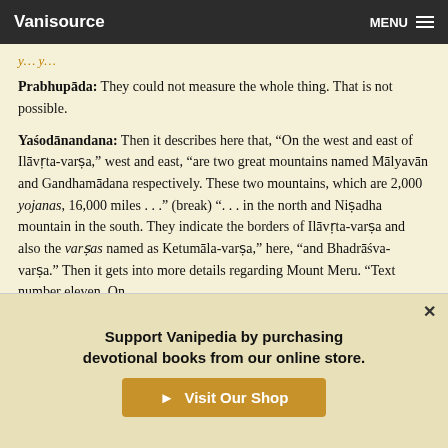Vanisource   MENU
Prabhupāda: They could not measure the whole thing. That is not possible.
Yaśodānandana: Then it describes here that, "On the west and east of Ilāvṛta-varṣa," west and east, "are two great mountains named Mālyavān and Gandhamādana respectively. These two mountains, which are 2,000 yojanas, 16,000 miles . . ." (break) ". . . in the north and Niṣadha mountain in the south. They indicate the borders of Ilāvṛta-varṣa and also the varṣas named as Ketumāla-varṣa," here, "and Bhadrāśva-varṣa." Then it gets into more details regarding Mount Meru. "Text number eleven. On
Support Vanipedia by purchasing devotional books from our online store.
Visit Our Shop